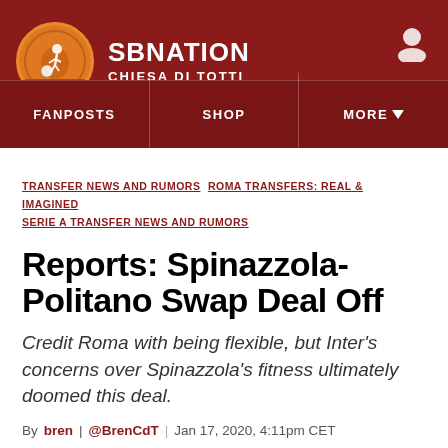SB NATION | CHIESA DI TOTTI
FANPOSTS | SHOP | MORE
TRANSFER NEWS AND RUMORS  ROMA TRANSFERS: REAL & IMAGINED  SERIE A TRANSFER NEWS AND RUMORS
Reports: Spinazzola-Politano Swap Deal Off
Credit Roma with being flexible, but Inter's concerns over Spinazzola's fitness ultimately doomed this deal.
By bren | @BrenCdT | Jan 17, 2020, 4:11pm CET